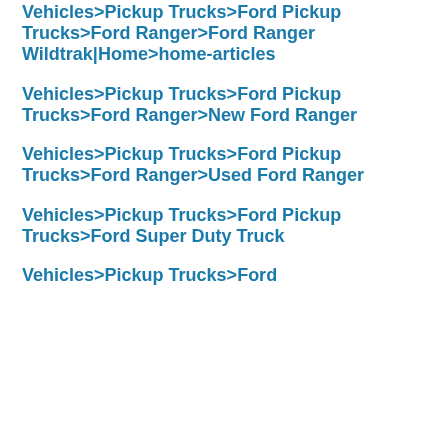Vehicles>Pickup Trucks>Ford Pickup Trucks>Ford Ranger>Ford Ranger Wildtrak|Home>home-articles
Vehicles>Pickup Trucks>Ford Pickup Trucks>Ford Ranger>New Ford Ranger
Vehicles>Pickup Trucks>Ford Pickup Trucks>Ford Ranger>Used Ford Ranger
Vehicles>Pickup Trucks>Ford Pickup Trucks>Ford Super Duty Truck
Vehicles>Pickup Trucks>Ford